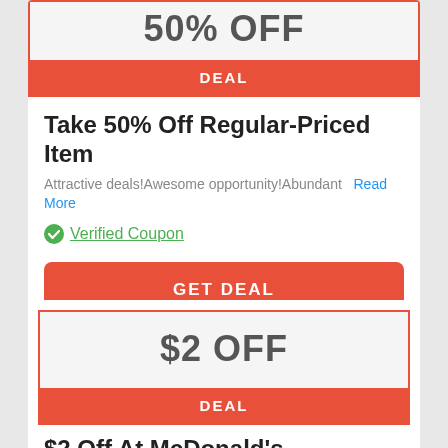50% OFF
DEAL
Take 50% Off Regular-Priced Item
Attractive deals!Awesome opportunity!Abundant
Read More
Verified Coupon
GET DEAL
$2 OFF
DEAL
$2 Off At McDonald's
various products at limitless discounts.Limited Per
Read More